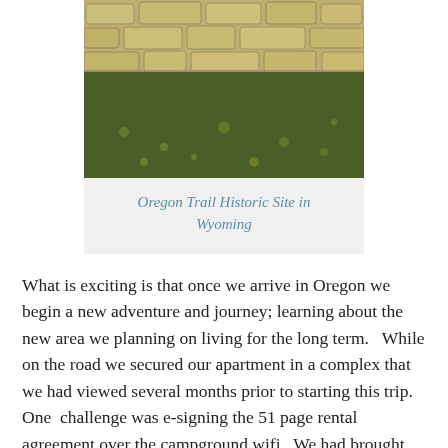[Figure (photo): Photo of an Oregon Trail Historic Site in Wyoming, showing a stone wall (top) and green grass area below]
Oregon Trail Historic Site in Wyoming
What is exciting is that once we arrive in Oregon we begin a new adventure and journey; learning about the new area we planning on living for the long term.   While on the road we secured our apartment in a complex that we had viewed several months prior to starting this trip.  One  challenge was e-signing the 51 page rental agreement over the campground wifi.  We had brought with us a hotspot device which still didn't have full range but was way better than the free wifi.  So we were able to get the job done.  I am looking forward to better